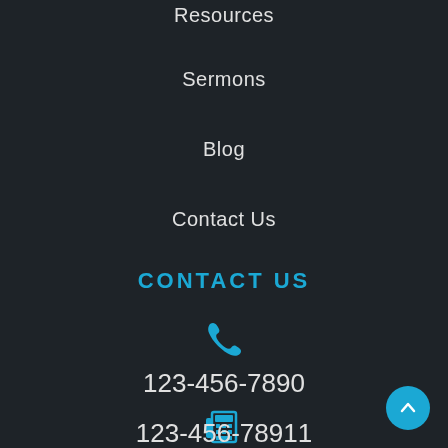Resources
Sermons
Blog
Contact Us
CONTACT US
[Figure (illustration): Phone handset icon in teal/cyan color]
123-456-7890
[Figure (illustration): Fax machine icon in teal/cyan color]
123-456-78911